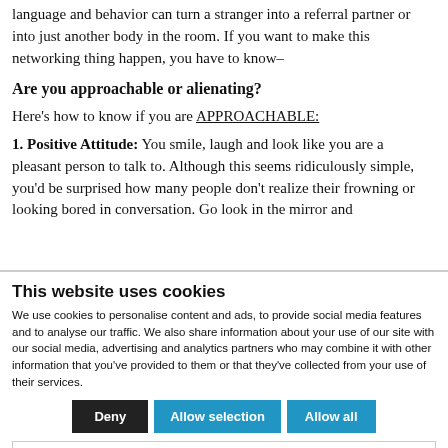language and behavior can turn a stranger into a referral partner or into just another body in the room. If you want to make this networking thing happen, you have to know–
Are you approachable or alienating?
Here's how to know if you are APPROACHABLE:
1. Positive Attitude: You smile, laugh and look like you are a pleasant person to talk to. Although this seems ridiculously simple, you'd be surprised how many people don't realize their frowning or looking bored in conversation. Go look in the mirror and
This website uses cookies
We use cookies to personalise content and ads, to provide social media features and to analyse our traffic. We also share information about your use of our site with our social media, advertising and analytics partners who may combine it with other information that you've provided to them or that they've collected from your use of their services.
Deny | Allow selection | Allow all
Necessary  Preferences  Statistics  Marketing  Show details